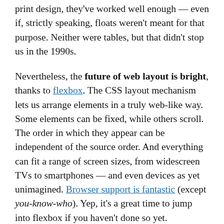print design, they've worked well enough — even if, strictly speaking, floats weren't meant for that purpose. Neither were tables, but that didn't stop us in the 1990s.
Nevertheless, the future of web layout is bright, thanks to flexbox. The CSS layout mechanism lets us arrange elements in a truly web-like way. Some elements can be fixed, while others scroll. The order in which they appear can be independent of the source order. And everything can fit a range of screen sizes, from widescreen TVs to smartphones — and even devices as yet unimagined. Browser support is fantastic (except you-know-who). Yep, it's a great time to jump into flexbox if you haven't done so yet.